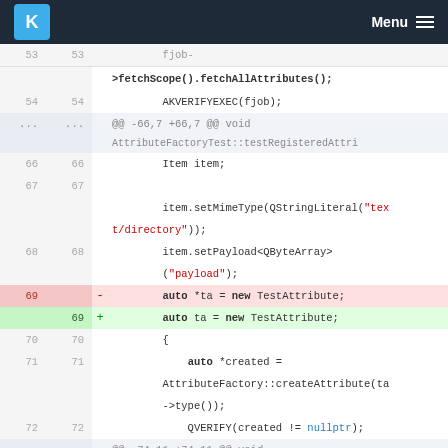KDE Menu
[Figure (screenshot): Code diff view showing C++ source code with line numbers, removed line (line 69) with pointer usage 'auto *ta = new TestAttribute;' highlighted in red, and added line (line 69) with 'auto ta = new TestAttribute;' highlighted in green. Context shows fetchScope, AKVERIFYEXEC, Item item, setMimeType, setPayload, QVERIFY calls and AttributeFactory code.]